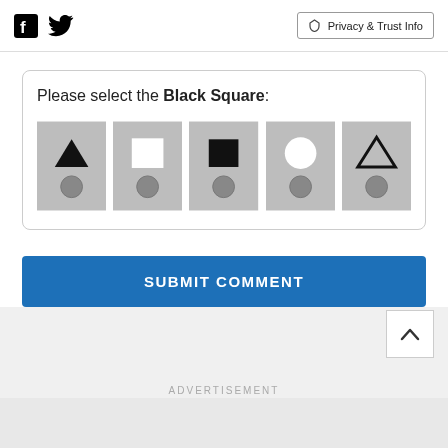Facebook Twitter | Privacy & Trust Info
Please select the Black Square:
[Figure (illustration): CAPTCHA widget showing 5 gray tiles: tile 1 has black triangle + gray circle, tile 2 has white square outline + gray circle, tile 3 has black filled square + gray circle, tile 4 has white circle + gray circle, tile 5 has black triangle outline + gray circle]
SUBMIT COMMENT
ADVERTISEMENT